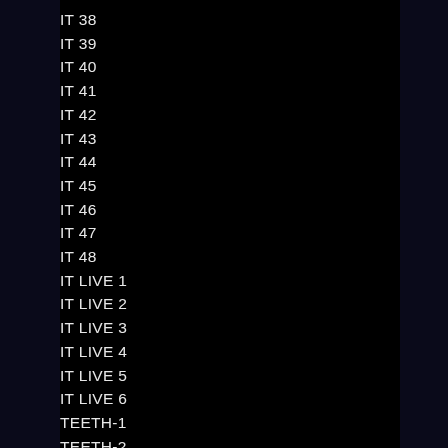IT 38
IT 39
IT 40
IT 41
IT 42
IT 43
IT 44
IT 45
IT 46
IT 47
IT 48
IT LIVE 1
IT LIVE 2
IT LIVE 3
IT LIVE 4
IT LIVE 5
IT LIVE 6
TEETH-1
TEETH-2